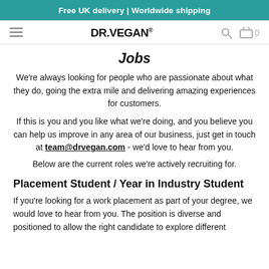Free UK delivery | Worldwide shipping
[Figure (logo): DR.VEGAN logo with hamburger menu, search icon, and cart icon showing 0 items]
Jobs
We're always looking for people who are passionate about what they do, going the extra mile and delivering amazing experiences for customers.
If this is you and you like what we're doing, and you believe you can help us improve in any area of our business, just get in touch at team@drvegan.com - we'd love to hear from you.
Below are the current roles we're actively recruiting for.
Placement Student / Year in Industry Student
If you're looking for a work placement as part of your degree, we would love to hear from you. The position is diverse and positioned to allow the right candidate to explore different